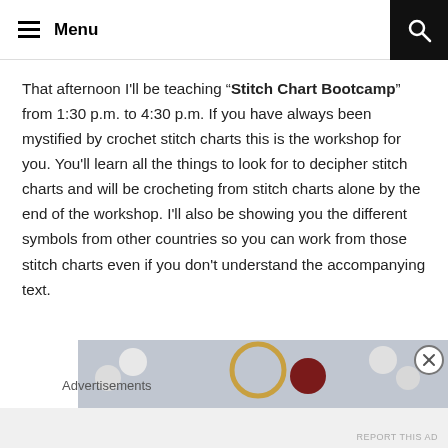Menu
That afternoon I'll be teaching “Stitch Chart Bootcamp” from 1:30 p.m. to 4:30 p.m. If you have always been mystified by crochet stitch charts this is the workshop for you. You'll learn all the things to look for to decipher stitch charts and will be crocheting from stitch charts alone by the end of the workshop. I'll also be showing you the different symbols from other countries so you can work from those stitch charts even if you don't understand the accompanying text.
[Figure (photo): Partial view of crochet or needlework tools and accessories including a gold ring/hoop, a red circular object, and white round items on a grey-blue background]
Advertisements
REPORT THIS AD